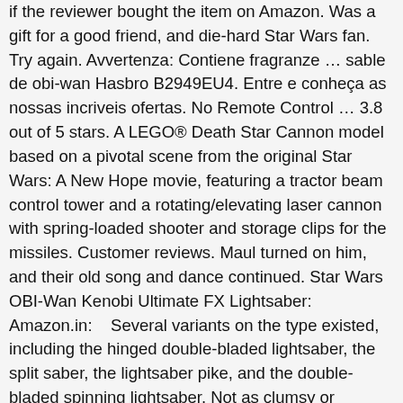if the reviewer bought the item on Amazon. Was a gift for a good friend, and die-hard Star Wars fan. Try again. Avvertenza: Contiene fragranze ... sable de obi-wan Hasbro B2949EU4. Entre e conheça as nossas incriveis ofertas. No Remote Control ... 3.8 out of 5 stars. A LEGO® Death Star Cannon model based on a pivotal scene from the original Star Wars: A New Hope movie, featuring a tractor beam control tower and a rotating/elevating laser cannon with spring-loaded shooter and storage clips for the missiles. Customer reviews. Maul turned on him, and their old song and dance continued. Star Wars OBI-Wan Kenobi Ultimate FX Lightsaber: Amazon.in:    Several variants on the type existed, including the hinged double-bladed lightsaber, the split saber, the lightsaber pike, and the double-bladed spinning lightsaber. Not as clumsy or random as a blaster. 1:1 Scale - 3D Printed Ahsoka Tano Lightsaber Hilt Cosplay Prop/Collectable . Find answers in product info, Q&As, reviews. Free shipping for many products! Obi-wan Kenobi is a wise Jedi Master who fights to save the Republlic alongside his friend Anakin Skywalker, a Jedi Knight who was once Kenobi's apprentice Box